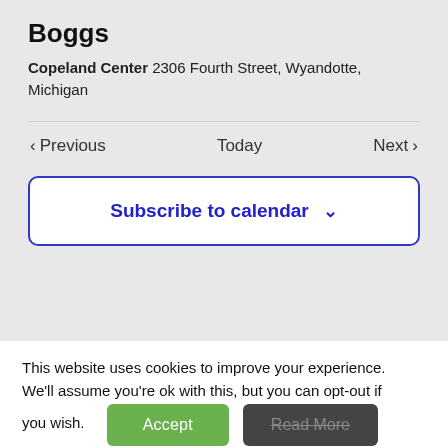Boggs
Copeland Center 2306 Fourth Street, Wyandotte, Michigan
< Previous   Today   Next >
Subscribe to calendar ∨
This website uses cookies to improve your experience. We'll assume you're ok with this, but you can opt-out if you wish.
Accept
Read More